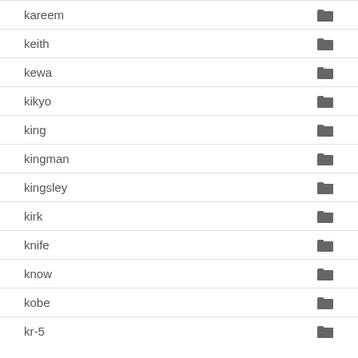kareem
keith
kewa
kikyo
king
kingman
kingsley
kirk
knife
know
kobe
kr-5